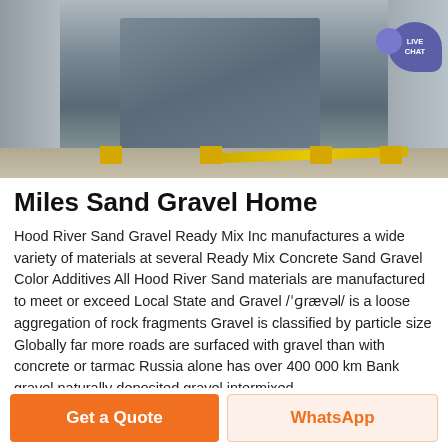[Figure (photo): Industrial jaw crusher machine photographed in a warehouse/industrial setting. Large grey steel crushing equipment mounted on yellow support blocks with a yellow diagonal bar visible. Live Chat bubble overlay in top right corner.]
Miles Sand Gravel Home
Hood River Sand Gravel Ready Mix Inc manufactures a wide variety of materials at several Ready Mix Concrete Sand Gravel Color Additives All Hood River Sand materials are manufactured to meet or exceed Local State and Gravel /ˈɡrævəl/ is a loose aggregation of rock fragments Gravel is classified by particle size Globally far more roads are surfaced with gravel than with concrete or tarmac Russia alone has over 400 000 km Bank gravel naturally deposited gravel intermixed
Get a Quote
WhatsApp